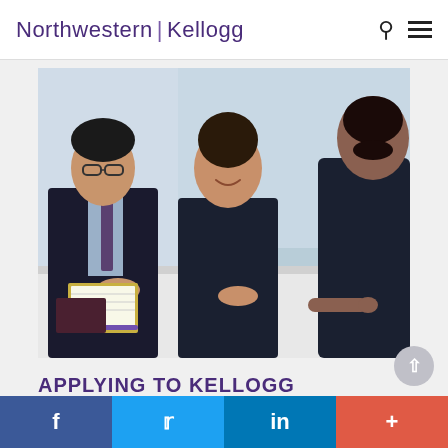Northwestern | Kellogg
[Figure (photo): Three business professionals (two women, one man) seated at a white table in a meeting or interview setting. The man on the left wears a suit and tie with glasses. The woman in the center wears dark clothing and is smiling. A third person facing away from the camera is on the right. A notebook and pen are on the table.]
APPLYING TO KELLOGG